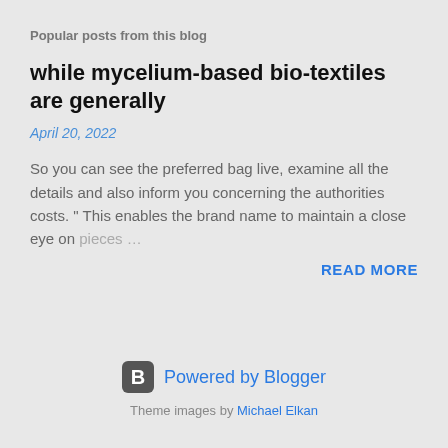Popular posts from this blog
while mycelium-based bio-textiles are generally
April 20, 2022
So you can see the preferred bag live, examine all the details and also inform you concerning the authorities costs. " This enables the brand name to maintain a close eye on pieces …
READ MORE
[Figure (logo): Blogger logo icon — rounded square with letter B]
Powered by Blogger
Theme images by Michael Elkan